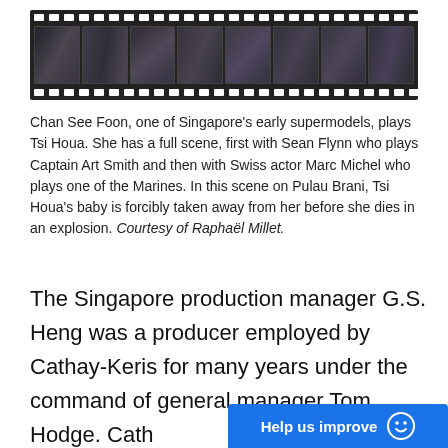[Figure (photo): A filmstrip showing multiple black-and-white frames of people in scenes, styled like a movie film strip with sprocket holes along top and bottom edges.]
Chan See Foon, one of Singapore's early supermodels, plays Tsi Houa. She has a full scene, first with Sean Flynn who plays Captain Art Smith and then with Swiss actor Marc Michel who plays one of the Marines. In this scene on Pulau Brani, Tsi Houa's baby is forcibly taken away from her before she dies in an explosion. Courtesy of Raphaël Millet.
The Singapore production manager G.S. Heng was a producer employed by Cathay-Keris for many years under the command of general manager Tom Hodge. Cath